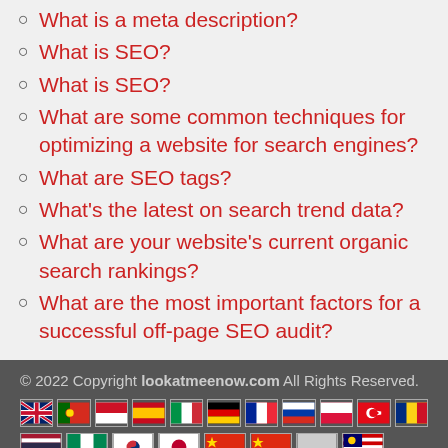What is a meta description?
What is SEO?
What is SEO?
What are some common techniques for optimizing a website for search engines?
What are SEO tags?
What's the latest on search trend data?
What are your website's current organic search rankings?
What are the most important factors for a successful off-page SEO audit?
© 2022 Copyright lookatmeenow.com All Rights Reserved.